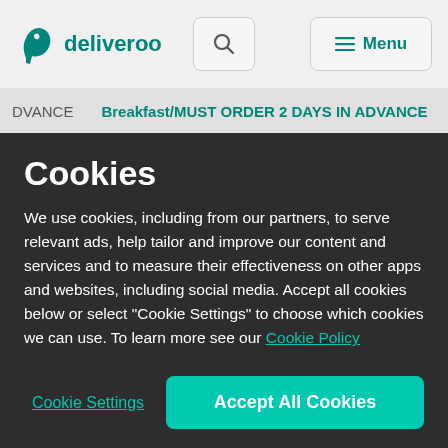deliveroo
DVANCE   Breakfast/MUST ORDER 2 DAYS IN ADVANCE
Cookies
We use cookies, including from our partners, to serve relevant ads, help tailor and improve our content and services and to measure their effectiveness on other apps and websites, including social media. Accept all cookies below or select “Cookie Settings” to choose which cookies we can use. To learn more see our Cookie Policy
Cookie Settings
Accept All Cookies